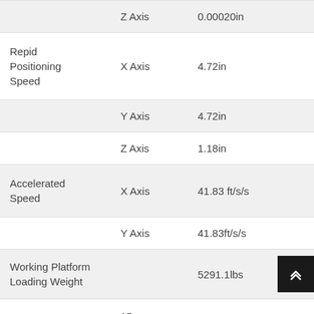| Feature | Axis | Value |
| --- | --- | --- |
|  | Z Axis | 0.00020in |
| Repid Positioning Speed | X Axis | 4.72in |
|  | Y Axis | 4.72in |
|  | Z Axis | 1.18in |
| Accelerated Speed | X Axis | 41.83 ft/s/s |
|  | Y Axis | 41.83ft/s/s |
| Working Platform Loading Weight |  | 5291.1lbs |
| Working Platform | 15 seconds |  |